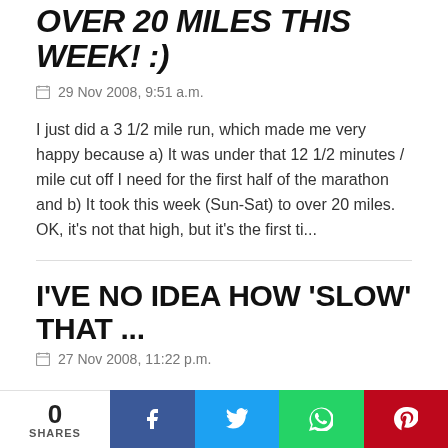OVER 20 MILES THIS WEEK! :)
29 Nov 2008, 9:51 a.m.
I just did a 3 1/2 mile run, which made me very happy because a) It was under that 12 1/2 minutes / mile cut off I need for the first half of the marathon and b) It took this week (Sun-Sat) to over 20 miles. OK, it's not that high, but it's the first ti...
I'VE NO IDEA HOW 'SLOW' THAT ...
27 Nov 2008, 11:22 p.m.
Today was fun. My Ozzie running partner brought along one of her 'normal' running partners (who she said was
0 SHARES